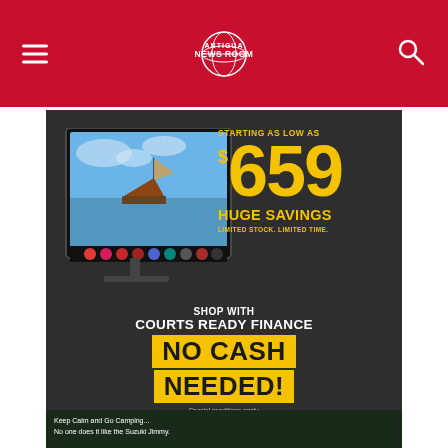Antigua News Room
[Figure (infographic): Courts electronics advertisement showing a smart TV with price starting as low as $659, huge savings, limited stock limited time, shop with Courts Ready Finance, No Cash Needed, special conditions apply.]
[Figure (photo): Second advertisement strip at the bottom: Keep Calm and Go Camping... No one does it like the Suzuki Jimmy.]